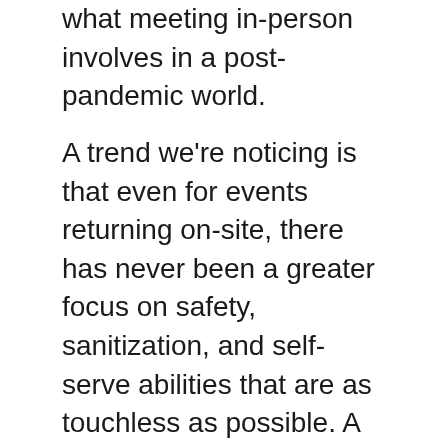what meeting in-person involves in a post-pandemic world.
A trend we're noticing is that even for events returning on-site, there has never been a greater focus on safety, sanitization, and self-serve abilities that are as touchless as possible. A couple of months ago, we renewed and launched our on-site check-in and badge printing kiosk system, called PheedLoop OnSight, designed for a post-pandemic world. Several months prior, we launched PheedLoop Go!, our brand new mobile app optimized specifically for the hybrid event experience from the ground up with loads of on-site features packed in. Features ranging from